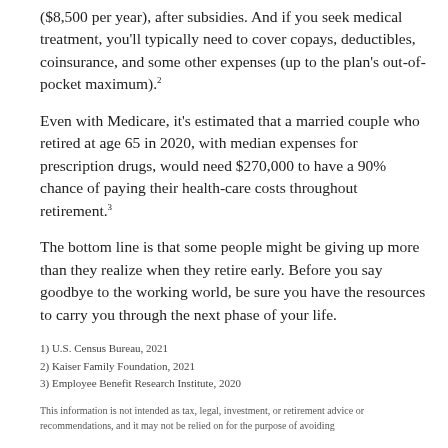($8,500 per year), after subsidies. And if you seek medical treatment, you'll typically need to cover copays, deductibles, coinsurance, and some other expenses (up to the plan's out-of-pocket maximum).²
Even with Medicare, it's estimated that a married couple who retired at age 65 in 2020, with median expenses for prescription drugs, would need $270,000 to have a 90% chance of paying their health-care costs throughout retirement.³
The bottom line is that some people might be giving up more than they realize when they retire early. Before you say goodbye to the working world, be sure you have the resources to carry you through the next phase of your life.
1) U.S. Census Bureau, 2021
2) Kaiser Family Foundation, 2021
3) Employee Benefit Research Institute, 2020
This information is not intended as tax, legal, investment, or retirement advice or recommendations, and it may not be relied on for the purpose of avoiding